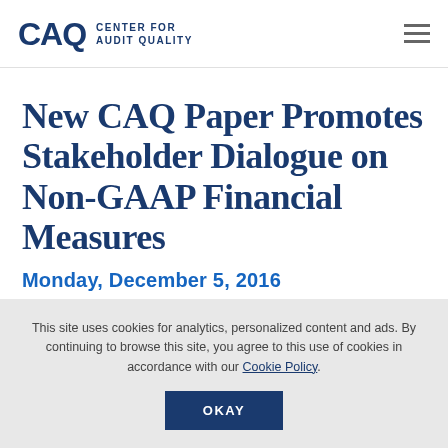CAQ CENTER FOR AUDIT QUALITY
New CAQ Paper Promotes Stakeholder Dialogue on Non-GAAP Financial Measures
Monday, December 5, 2016
This site uses cookies for analytics, personalized content and ads. By continuing to browse this site, you agree to this use of cookies in accordance with our Cookie Policy.
OKAY